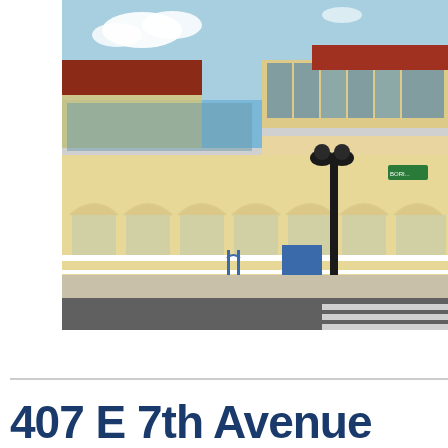[Figure (photo): Exterior photo of a commercial/retail building with yellow stucco walls, red tile roof, arched colonnade at ground level, glass railing at upper floor, and a street lamp in front. Blue sky background. Street and crosswalk visible in foreground.]
407 E 7th Avenue